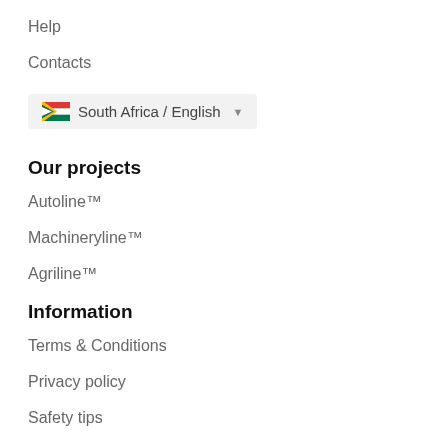Help
Contacts
South Africa / English
Our projects
Autoline™
Machineryline™
Agriline™
Information
Terms & Conditions
Privacy policy
Safety tips